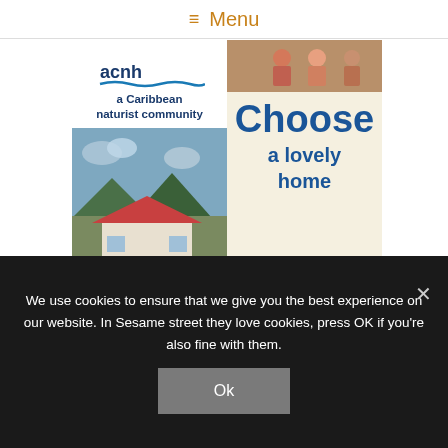≡ Menu
[Figure (illustration): Caribbean naturist community promotional banner with logo, house photo, and 'Choose a lovely home' text]
We use cookies to ensure that we give you the best experience on our website. In Sesame street they love cookies, press OK if you're also fine with them.
Ok